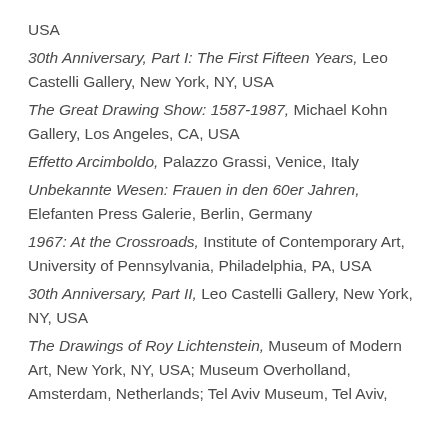USA
30th Anniversary, Part I: The First Fifteen Years, Leo Castelli Gallery, New York, NY, USA
The Great Drawing Show: 1587-1987, Michael Kohn Gallery, Los Angeles, CA, USA
Effetto Arcimboldo, Palazzo Grassi, Venice, Italy
Unbekannte Wesen: Frauen in den 60er Jahren, Elefanten Press Galerie, Berlin, Germany
1967: At the Crossroads, Institute of Contemporary Art, University of Pennsylvania, Philadelphia, PA, USA
30th Anniversary, Part II, Leo Castelli Gallery, New York, NY, USA
The Drawings of Roy Lichtenstein, Museum of Modern Art, New York, NY, USA; Museum Overholland, Amsterdam, Netherlands; Tel Aviv Museum, Tel Aviv,